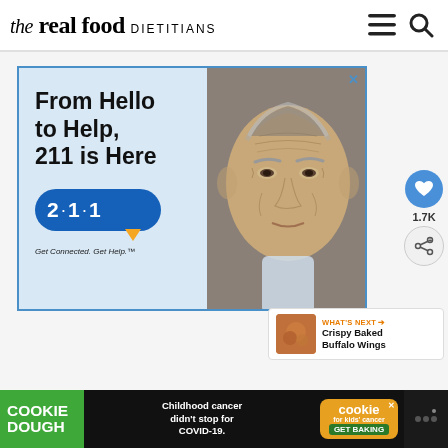the real food DIETITIANS
[Figure (advertisement): 211 service advertisement: 'From Hello to Help, 211 is Here' with elderly man photo and 211 badge. Get Connected. Get Help.]
[Figure (infographic): Side buttons: heart icon with 1.7K count and share button]
WHAT'S NEXT → Crispy Baked Buffalo Wings
[Figure (advertisement): Bottom bar ad: COOKIE DOUGH / Childhood cancer didn't stop for COVID-19. / cookies for kids' cancer GET BAKING]